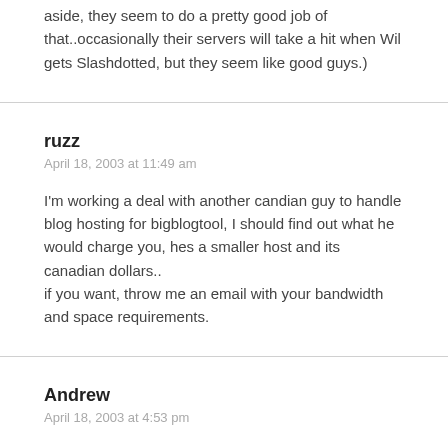aside, they seem to do a pretty good job of that..occasionally their servers will take a hit when Wil gets Slashdotted, but they seem like good guys.)
ruzz
April 18, 2003 at 11:49 am
I'm working a deal with another candian guy to handle blog hosting for bigblogtool, I should find out what he would charge you, hes a smaller host and its canadian dollars..
if you want, throw me an email with your bandwidth and space requirements.
Andrew
April 18, 2003 at 4:53 pm